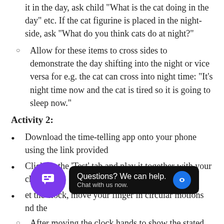it in the day, ask child "What is the cat doing in the day" etc. If the cat figurine is placed in the night-side, ask "What do you think cats do at night?"
Allow for these items to cross sides to demonstrate the day shifting into the night or vice versa for e.g. the cat can cross into night time: “It’s night time now and the cat is tired so it is going to sleep now.”
Activity 2:
Download the time-telling app onto your phone using the link provided
Click on the ‘Test’ tab and play it together with your child
et the clock, move your finger in circular motions nd the
After moving the clock hands to show the stated time, the app displays a specific activity done during